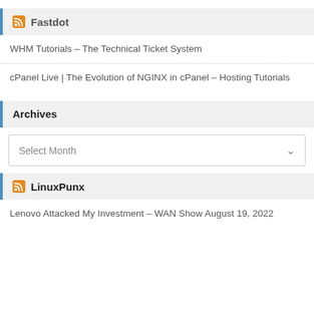Fastdot
WHM Tutorials – The Technical Ticket System
cPanel Live | The Evolution of NGINX in cPanel – Hosting Tutorials
Archives
Select Month
LinuxPunx
Lenovo Attacked My Investment – WAN Show August 19, 2022